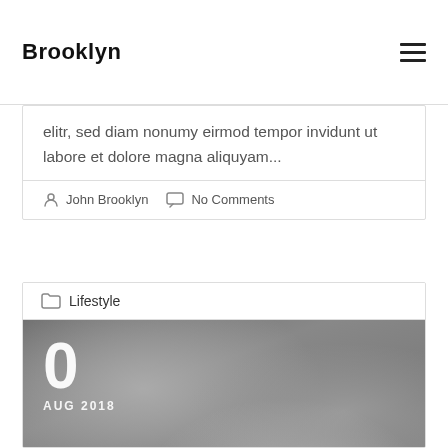Brooklyn
elitr, sed diam nonumy eirmod tempor invidunt ut labore et dolore magna aliquyam...
John Brooklyn   No Comments
Lifestyle
[Figure (photo): Black and white street photo with date overlay showing 0 AUG 2018, person walking in an urban setting with trees]